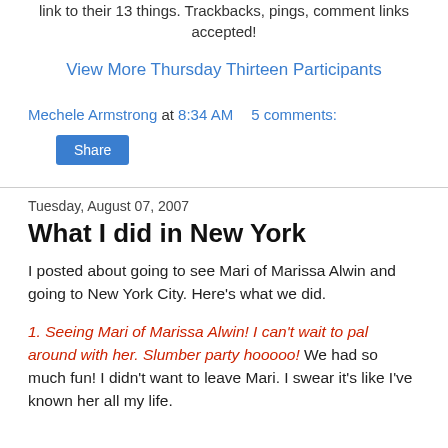link to their 13 things. Trackbacks, pings, comment links accepted!
View More Thursday Thirteen Participants
Mechele Armstrong at 8:34 AM   5 comments:
Share
Tuesday, August 07, 2007
What I did in New York
I posted about going to see Mari of Marissa Alwin and going to New York City. Here's what we did.
1. Seeing Mari of Marissa Alwin! I can't wait to pal around with her. Slumber party hooooo! We had so much fun! I didn't want to leave Mari. I swear it's like I've known her all my life.